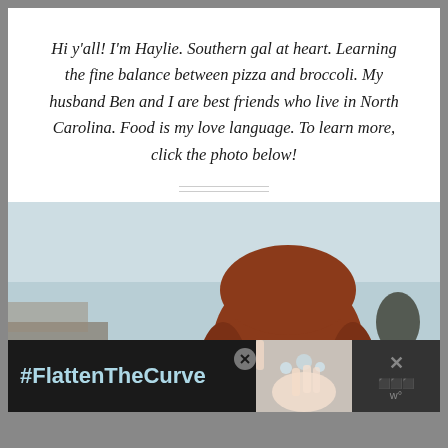Hi y'all! I'm Haylie. Southern gal at heart. Learning the fine balance between pizza and broccoli. My husband Ben and I are best friends who live in North Carolina. Food is my love language. To learn more, click the photo below!
[Figure (photo): Smiling woman with auburn/red hair in a kitchen setting with light blue-grey walls, photographed from below, laughing]
#FlattenTheCurve